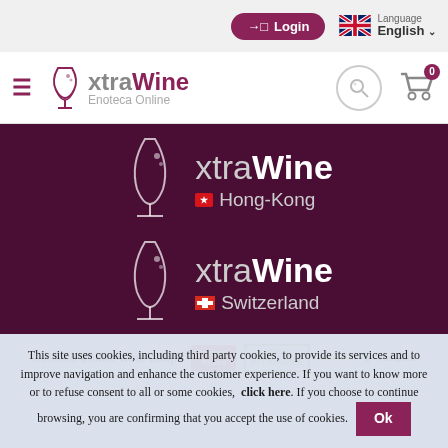Login | Language English
[Figure (logo): xtraWine Enoteca Online logo with hamburger menu, search and cart icons]
[Figure (logo): xtraWine Hong-Kong logo on dark purple background]
[Figure (logo): xtraWine Switzerland logo on dark purple background]
Certified online wine shop:
[Figure (illustration): Certification logos: Gambero Rosso, Sito Affidabile, Sicuro, Trustpilot]
This site uses cookies, including third party cookies, to provide its services and to improve navigation and enhance the customer experience. If you want to know more or to refuse consent to all or some cookies, click here. If you choose to continue browsing, you are confirming that you accept the use of cookies. Ok